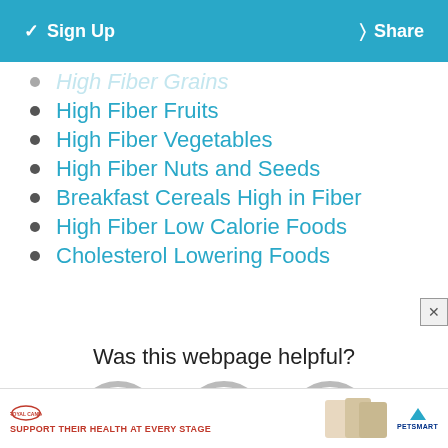Sign Up  Share
High Fiber Grains
High Fiber Fruits
High Fiber Vegetables
High Fiber Nuts and Seeds
Breakfast Cereals High in Fiber
High Fiber Low Calorie Foods
Cholesterol Lowering Foods
Was this webpage helpful?
[Figure (illustration): Three emoji-style face icons: sad face, neutral face, and happy/laughing face, all in gray outline style]
[Figure (illustration): Royal Canin advertisement banner: logo, 'Support their health at every stage' tagline, pet food product images, PetSmart logo]